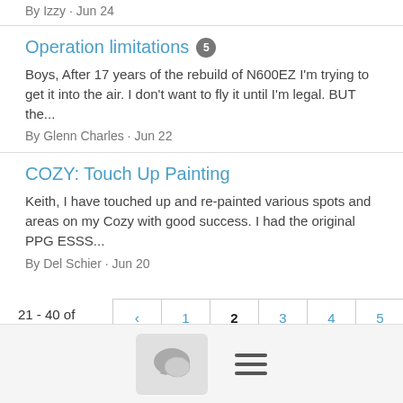By Izzy · Jun 24
Operation limitations 5
Boys, After 17 years of the rebuild of N600EZ I'm trying to get it into the air. I don't want to fly it until I'm legal. BUT the...
By Glenn Charles · Jun 22
COZY: Touch Up Painting
Keith, I have touched up and re-painted various spots and areas on my Cozy with good success. I had the original PPG ESSS...
By Del Schier · Jun 20
21 - 40 of 40459
[Figure (other): Pagination controls: back arrow, pages 1, 2 (current/bold), 3, 4, 5, 6, 7, 8, 9, forward arrow]
[Figure (other): Bottom navigation bar with chat icon button and hamburger menu icon]